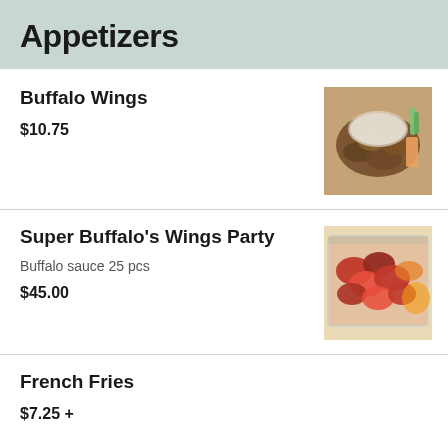Appetizers
Buffalo Wings
$10.75
[Figure (photo): Plate of buffalo wings with dipping sauce and carrots/celery]
Super Buffalo's Wings Party
Buffalo sauce 25 pcs
$45.00
[Figure (photo): Tray of saucy buffalo wings party platter]
French Fries
$7.25 +